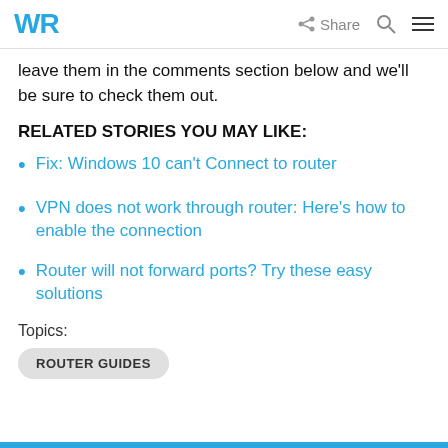WR Share [search] [menu]
leave them in the comments section below and we'll be sure to check them out.
RELATED STORIES YOU MAY LIKE:
Fix: Windows 10 can't Connect to router
VPN does not work through router: Here's how to enable the connection
Router will not forward ports? Try these easy solutions
Topics:
ROUTER GUIDES